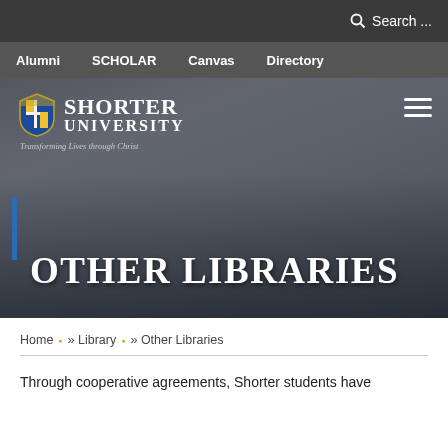Search ...
Alumni  SCHOLAR  Canvas  Directory
[Figure (photo): Hero banner photo showing Shorter University students walking in front of a columned building. A large white bold text reads 'OTHER LIBRARIES' overlaid on the image. The Shorter University logo with shield emblem and tagline 'Transforming Lives through Christ' appears in the upper left. A hamburger menu icon is in the upper right. A blue accent bar appears on the left side.]
Home » Library » Other Libraries
Through cooperative agreements, Shorter students have